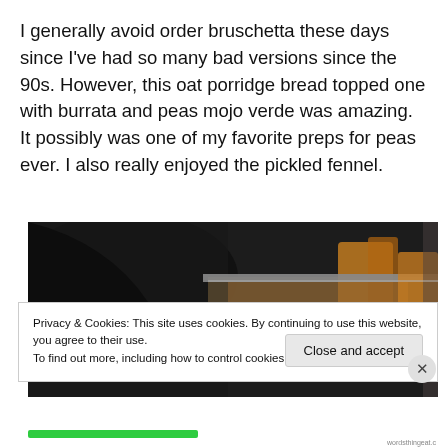I generally avoid order bruschetta these days since I've had so many bad versions since the 90s. However, this oat porridge bread topped one with burrata and peas mojo verde was amazing. It possibly was one of my favorite preps for peas ever. I also really enjoyed the pickled fennel.
[Figure (photo): Partial photo of a restaurant table/kitchen scene, showing dark objects and what appears to be bottles or condiments in the background]
Privacy & Cookies: This site uses cookies. By continuing to use this website, you agree to their use.
To find out more, including how to control cookies, see here: Cookie Policy
Close and accept